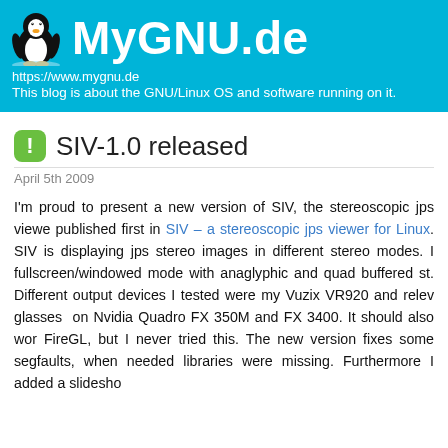MyGNU.de
https://www.mygnu.de
This blog is about the GNU/Linux OS and software running on it.
SIV-1.0 released
April 5th 2009
I'm proud to present a new version of SIV, the stereoscopic jps viewer, published first in SIV – a stereoscopic jps viewer for Linux. SIV is displaying jps stereo images in different stereo modes. I fullscreen/windowed mode with anaglyphic and quad buffered st. Different output devices I tested were my Vuzix VR920 and relev glasses on Nvidia Quadro FX 350M and FX 3400. It should also wor FireGL, but I never tried this. The new version fixes some segfaults, when needed libraries were missing. Furthermore I added a slidesho